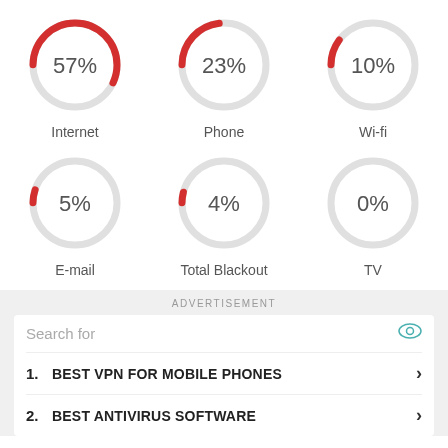[Figure (donut-chart): Donut charts showing percentages for 6 categories]
ADVERTISEMENT
Search for
1. BEST VPN FOR MOBILE PHONES
2. BEST ANTIVIRUS SOFTWARE